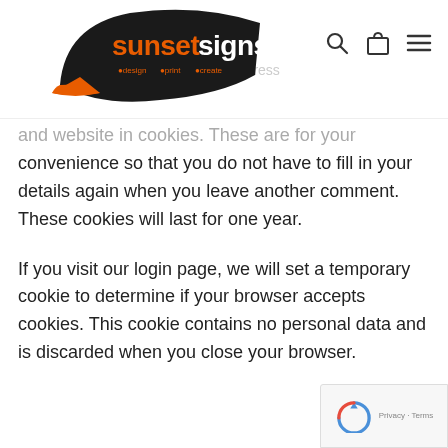[Figure (logo): Sunset Signs logo — black swoosh shape with orange arrow, text 'sunsetsigns' with tagline 'design print create']
and website in cookies. These are for your convenience so that you do not have to fill in your details again when you leave another comment. These cookies will last for one year.
If you visit our login page, we will set a temporary cookie to determine if your browser accepts cookies. This cookie contains no personal data and is discarded when you close your browser.